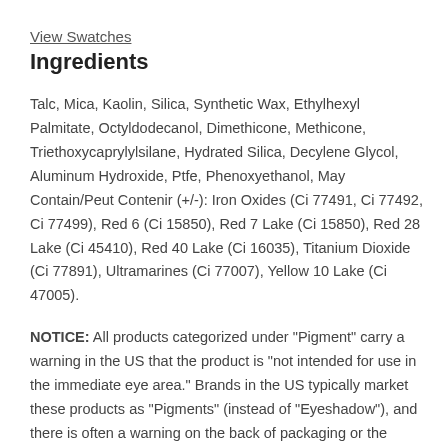View Swatches
Ingredients
Talc, Mica, Kaolin, Silica, Synthetic Wax, Ethylhexyl Palmitate, Octyldodecanol, Dimethicone, Methicone, Triethoxycaprylylsilane, Hydrated Silica, Decylene Glycol, Aluminum Hydroxide, Ptfe, Phenoxyethanol, May Contain/Peut Contenir (+/-): Iron Oxides (Ci 77491, Ci 77492, Ci 77499), Red 6 (Ci 15850), Red 7 Lake (Ci 15850), Red 28 Lake (Ci 45410), Red 40 Lake (Ci 16035), Titanium Dioxide (Ci 77891), Ultramarines (Ci 77007), Yellow 10 Lake (Ci 47005).
NOTICE: All products categorized under "Pigment" carry a warning in the US that the product is "not intended for use in the immediate eye area." Brands in the US typically market these products as "Pigments" (instead of "Eyeshadow"), and there is often a warning on the back of packaging or the